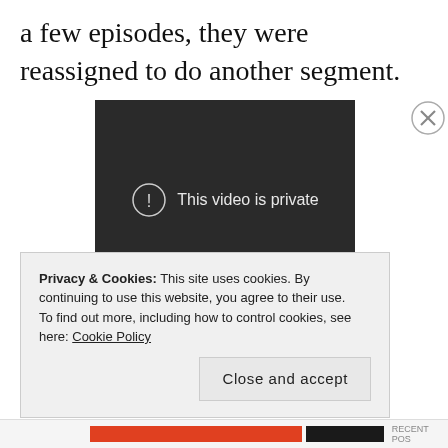a few episodes, they were reassigned to do another segment.
[Figure (screenshot): Video player showing a dark background with a circle exclamation icon and the text 'This video is private']
Privacy & Cookies: This site uses cookies. By continuing to use this website, you agree to their use. To find out more, including how to control cookies, see here: Cookie Policy
Close and accept